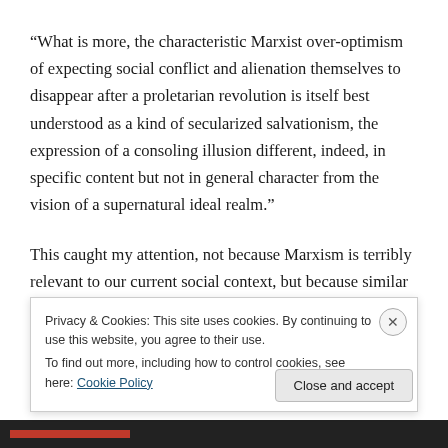“What is more, the characteristic Marxist over-optimism of expecting social conflict and alienation themselves to disappear after a proletarian revolution is itself best understood as a kind of secularized salvationism, the expression of a consoling illusion different, indeed, in specific content but not in general character from the vision of a supernatural ideal realm.”
This caught my attention, not because Marxism is terribly relevant to our current social context, but because similar observations can be made, in any time, of those who are
Privacy & Cookies: This site uses cookies. By continuing to use this website, you agree to their use.
To find out more, including how to control cookies, see here: Cookie Policy